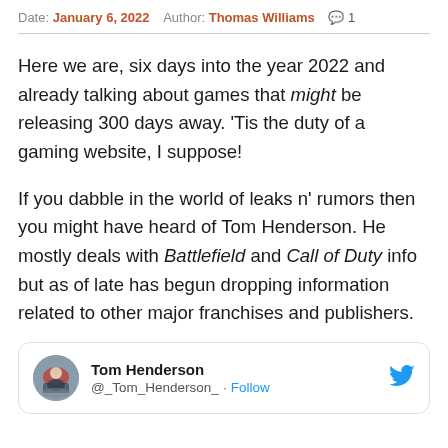Date: January 6, 2022  Author: Thomas Williams  💬 1
Here we are, six days into the year 2022 and already talking about games that might be releasing 300 days away. 'Tis the duty of a gaming website, I suppose!
If you dabble in the world of leaks n' rumors then you might have heard of Tom Henderson. He mostly deals with Battlefield and Call of Duty info but as of late has begun dropping information related to other major franchises and publishers.
[Figure (screenshot): Tweet card showing Tom Henderson @_Tom_Henderson_ with a Follow button and Twitter bird icon, with a profile avatar image of a motocross rider.]